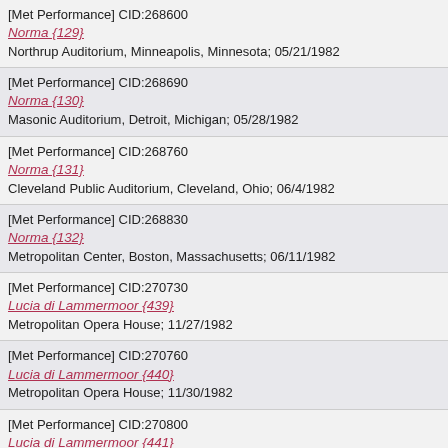[Met Performance] CID:268600
Norma {129}
Northrup Auditorium, Minneapolis, Minnesota; 05/21/1982
[Met Performance] CID:268690
Norma {130}
Masonic Auditorium, Detroit, Michigan; 05/28/1982
[Met Performance] CID:268760
Norma {131}
Cleveland Public Auditorium, Cleveland, Ohio; 06/4/1982
[Met Performance] CID:268830
Norma {132}
Metropolitan Center, Boston, Massachusetts; 06/11/1982
[Met Performance] CID:270730
Lucia di Lammermoor {439}
Metropolitan Opera House; 11/27/1982
[Met Performance] CID:270760
Lucia di Lammermoor {440}
Metropolitan Opera House; 11/30/1982
[Met Performance] CID:270800
Lucia di Lammermoor {441}
Metropolitan Opera House; 12/4/1982
Broadcast
[Met Performance] CID:270850
Lucia di Lammermoor {442}
Metropolitan Opera House; 12/9/1982
[Met Performance] CID:270900
Lucia di Lammermoor {443}
Metropolitan Opera House; 12/13/1982